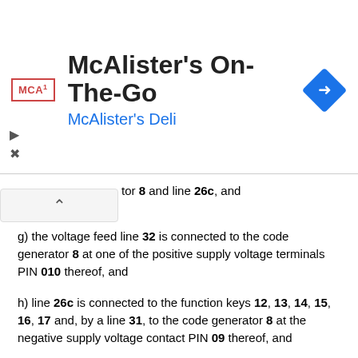[Figure (other): McAlister's On-The-Go advertisement banner with McAlister's Deli logo box, title text, subtitle in blue, and a blue diamond navigation icon.]
tor 8 and line 26c, and
g) the voltage feed line 32 is connected to the code generator 8 at one of the positive supply voltage terminals PIN 010 thereof, and
h) line 26c is connected to the function keys 12, 13, 14, 15, 16, 17 and, by a line 31, to the code generator 8 at the negative supply voltage contact PIN 09 thereof, and
i) that, for decoupling, the double diodes of the function keys 12, 13, 14, 15, 16, 17 are connected, by their contacts D, via lines to the code generator 8 at at least two or more of the control input terminals PIN 06, 07, 08, 09, 016, 017, 018 thereof, and
j) that the voltage feed line 32 is connected to one of the terminals PIN 010 and another one of the code generator terminals PIN 014 of the code generator 8 by way of a pull up resistor 9 and line 29, and
k) external oscillator connection terminals PIN 012 and PIN 013 of the code generator 8 are connected to each other by an external oscillator resistor 10